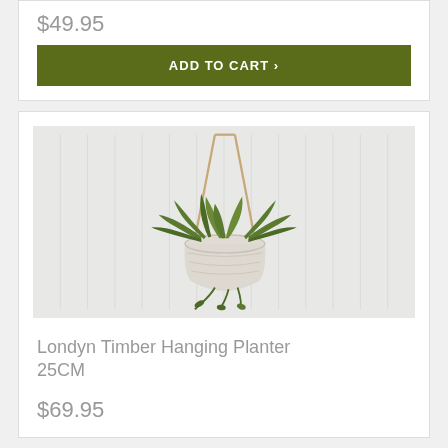$49.95
ADD TO CART ›
[Figure (photo): Hanging planter with a white ceramic pot containing green ferns/plants, suspended by leather/rope straps against a white paneled wall background]
Londyn Timber Hanging Planter 25CM
$69.95